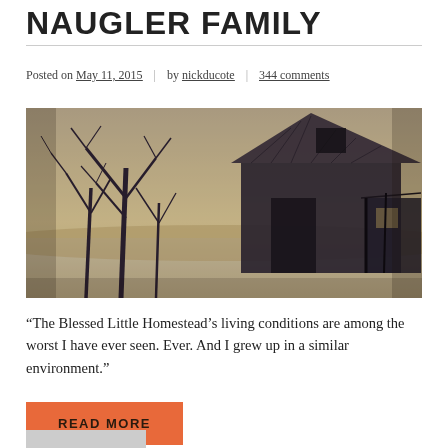NAUGLER FAMILY
Posted on May 11, 2015 | by nickducote | 344 comments
[Figure (photo): Photograph of an old abandoned wooden barn or farmhouse with bare winter trees in a snowy/foggy field, sepia-toned vintage style]
“The Blessed Little Homestead’s living conditions are among the worst I have ever seen. Ever. And I grew up in a similar environment.”
READ MORE